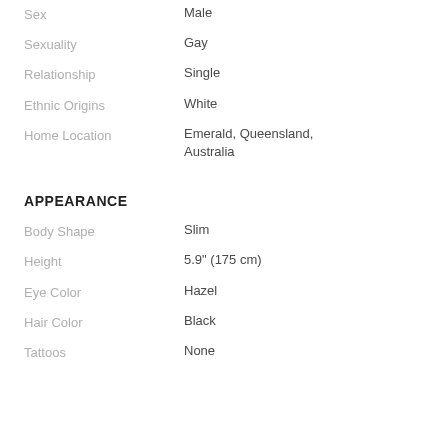Sex | Male
Sexuality | Gay
Relationship | Single
Ethnic Origins | White
Home Location | Emerald, Queensland, Australia
APPEARANCE
Body Shape | Slim
Height | 5.9" (175 cm)
Eye Color | Hazel
Hair Color | Black
Tattoos | None